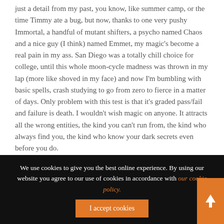just a detail from my past, you know, like summer camp, or the time Timmy ate a bug, but now, thanks to one very pushy Immortal, a handful of mutant shifters, a psycho named Chaos and a nice guy (I think) named Emmet, my magic's become a real pain in my ass. San Diego was a totally chill choice for college, until this whole moon-cycle madness was thrown in my lap (more like shoved in my face) and now I'm bumbling with basic spells, crash studying to go from zero to fierce in a matter of days. Only problem with this test is that it's graded pass/fail and failure is death. I wouldn't wish magic on anyone. It attracts all the wrong entities, the kind you can't run from, the kind who always find you, the kind who know your dark secrets even before you do.
We use cookies to give you the best online experience. By using our website you agree to our use of cookies in accordance with our cookie policy.